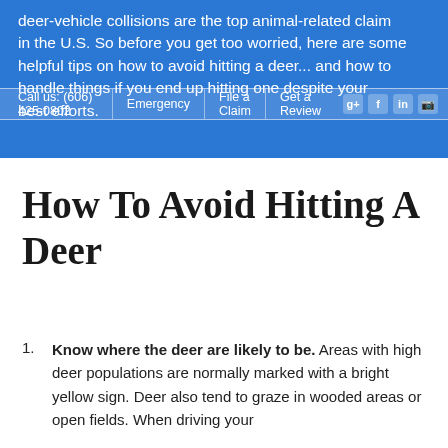deer-vehicle collisions are the top animal-related claim in the U.S. So before you get too worried, here are some helpful tips on how to avoid hitting a deer… and how to handle things if you end up hitting one despite your best efforts.
Call us: (606) 425-0802 | Emergency | File a Claim | Get a Review
How To Avoid Hitting A Deer
Know where the deer are likely to be. Areas with high deer populations are normally marked with a bright yellow sign. Deer also tend to graze in wooded areas or open fields. When driving your